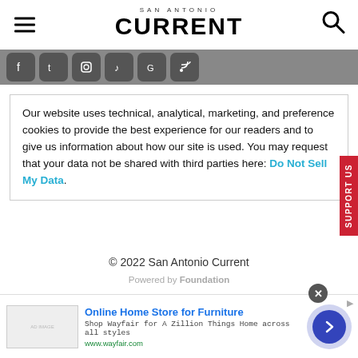SAN ANTONIO CURRENT
[Figure (screenshot): Social media icon buttons bar (Facebook, Twitter, Instagram, TikTok, Google News, RSS)]
Our website uses technical, analytical, marketing, and preference cookies to provide the best experience for our readers and to give us information about how our site is used. You may request that your data not be shared with third parties here: Do Not Sell My Data.
© 2022 San Antonio Current
Powered by Foundation
[Figure (screenshot): Advertisement banner: Online Home Store for Furniture – Shop Wayfair for A Zillion Things Home across all styles, www.wayfair.com]